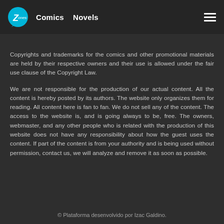Comics   Novels
Copyrights and trademarks for the comics and other promotional materials are held by their respective owners and their use is allowed under the fair use clause of the Copyright Law.
We are not responsible for the production of our actual content. All the content is hereby posted by its authors. The website only organizes them for reading. All content here is fan to fan. We do not sell any of the content. The access to the website is, and is going always to be, free. The owners, webmaster, and any other people who is related with the production of this website does not have any responsibility about how the guest uses the content. If part of the content is from your authority and is being used without permission, contact us, we will analyze and remove it as soon as possible.
© Plataforma desenvolvido por Izac Galdino.